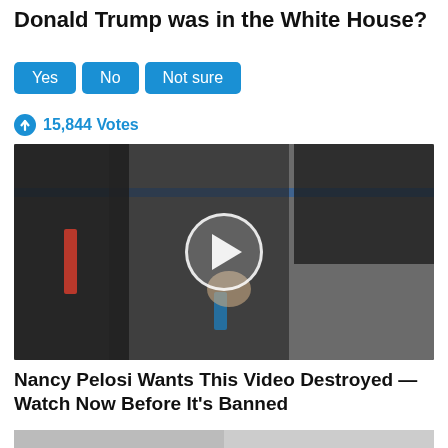Donald Trump was in the White House?
Yes
No
Not sure
15,844 Votes
[Figure (photo): Video thumbnail showing people in dark coats walking, one waving; a play button overlay in the center. Appears to be Donald Trump with associates.]
Nancy Pelosi Wants This Video Destroyed — Watch Now Before It's Banned
847,012
[Figure (photo): Bottom strip showing partial images of two photos side by side.]